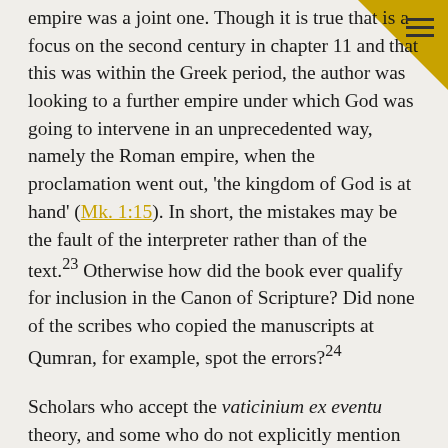empire was a joint one. Though it is true that is a focus on the second century in chapter 11 and that this was within the Greek period, the author was looking to a further empire under which God was going to intervene in an unprecedented way, namely the Roman empire, when the proclamation went out, 'the kingdom of God is at hand' (Mk. 1:15). In short, the mistakes may be the fault of the interpreter rather than of the text.23 Otherwise how did the book ever qualify for inclusion in the Canon of Scripture? Did none of the scribes who copied the manuscripts at Qumran, for example, spot the errors?24
Scholars who accept the vaticinium ex eventu theory, and some who do not explicitly mention it, go to some lengths to repudiate the idea that the